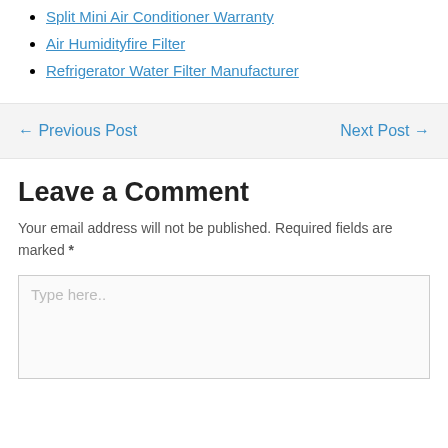Split Mini Air Conditioner Warranty
Air Humidityfire Filter
Refrigerator Water Filter Manufacturer
← Previous Post    Next Post →
Leave a Comment
Your email address will not be published. Required fields are marked *
Type here..